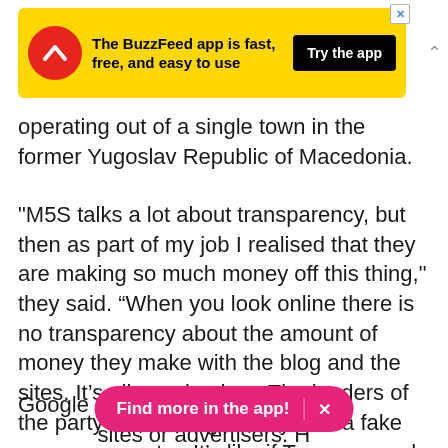[Figure (other): BuzzFeed app advertisement banner with yellow background, red circular logo with arrow, text 'The BuzzFeed app is fast, free, and easy to use', and black 'Try the app' button]
operating out of a single town in the former Yugoslav Republic of Macedonia.
"M5S talks a lot about transparency, but then as part of my job I realised that they are making so much money off this thing," they said. “When you look online there is no transparency about the amount of money they make with the blog and the sites. It’s all so mixed up. The leaders of the party are making money with a fake news aggregator. It’s like if Trump owned the Macedonian sites.”
Google declin[ed to comment on specific] sites or advertisers. However, the company last week
[Figure (other): Pink rounded pill-shaped button overlay reading 'Find more in the app!' with an X close button on the right]